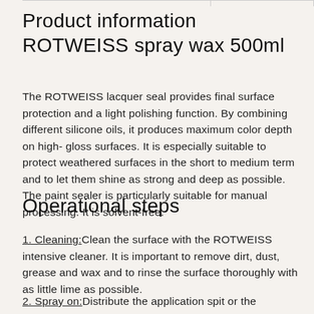Product information ROTWEISS spray wax 500ml
The ROTWEISS lacquer seal provides final surface protection and a light polishing function. By combining different silicone oils, it produces maximum color depth on high- gloss surfaces. It is especially suitable to protect weathered surfaces in the short to medium term and to let them shine as strong and deep as possible. The paint sealer is particularly suitable for manual processing. It is solvent-free.
Operational steps
1. Cleaning:Clean the surface with the ROTWEISS intensive cleaner. It is important to remove dirt, dust, grease and wax and to rinse the surface thoroughly with as little lime as possible.
2. Spray on:Distribute the application spit or the